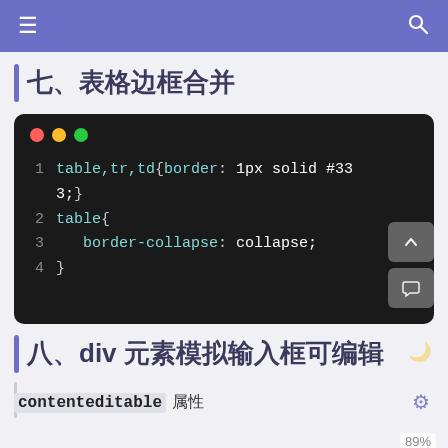≡ [navigation] 🔍
七、表格边框合并
[Figure (screenshot): Code editor block showing CSS: table,tr,td{border: 1px solid #333;} table{ border-collapse: collapse; }]
八、div 元素模拟输入框可编辑
contenteditable 属性
[Figure (screenshot): Bottom partial code editor block with traffic lights]